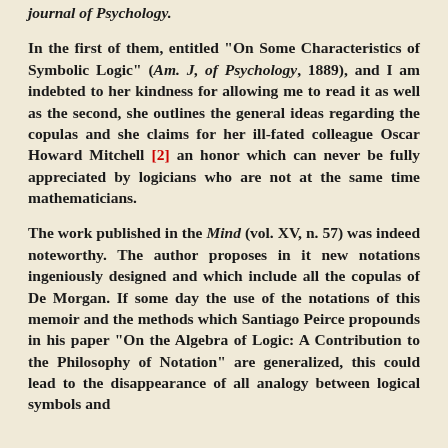Journal of Psychology.
In the first of them, entitled "On Some Characteristics of Symbolic Logic" (Am. J, of Psychology, 1889), and I am indebted to her kindness for allowing me to read it as well as the second, she outlines the general ideas regarding the copulas and she claims for her ill-fated colleague Oscar Howard Mitchell [2] an honor which can never be fully appreciated by logicians who are not at the same time mathematicians.
The work published in the Mind (vol. XV, n. 57) was indeed noteworthy. The author proposes in it new notations ingeniously designed and which include all the copulas of De Morgan. If some day the use of the notations of this memoir and the methods which Santiago Peirce propounds in his paper "On the Algebra of Logic: A Contribution to the Philosophy of Notation" are generalized, this could lead to the disappearance of all analogy between logical symbols and